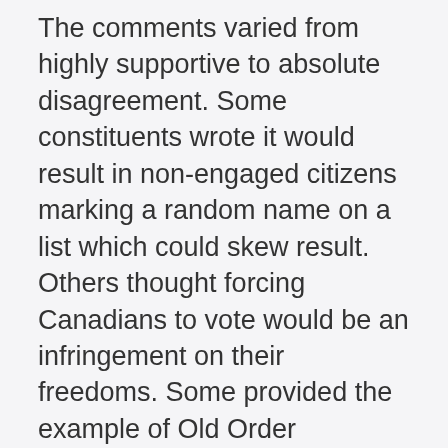The comments varied from highly supportive to absolute disagreement. Some constituents wrote it would result in non-engaged citizens marking a random name on a list which could skew result. Others thought forcing Canadians to vote would be an infringement on their freedoms. Some provided the example of Old Order Mennonites who choose not to vote for religious reasons. It is possible forcing them to vote would be a violation of their Charter Rights. One constituent wrote “not voting can be a form of protest, and peaceful protest is a necessary part of democracy”.
One constituent quite eloquently submitted that “mandatory voting contradicts the very essence of democracy. Each generation must